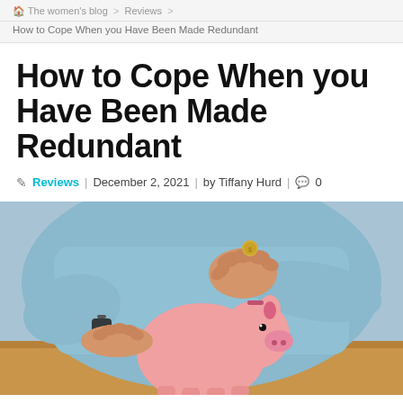The women's blog > Reviews >
How to Cope When you Have Been Made Redundant
How to Cope When you Have Been Made Redundant
Reviews | December 2, 2021 | by Tiffany Hurd | 0
[Figure (photo): Person in a light blue sweater inserting a coin into a pink piggy bank on a wooden table.]